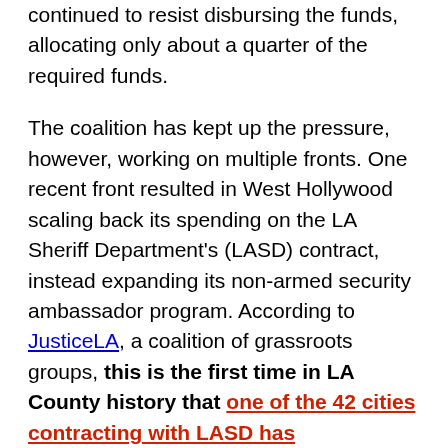services. Two years later, the county has continued to resist disbursing the funds, allocating only about a quarter of the required funds.
The coalition has kept up the pressure, however, working on multiple fronts. One recent front resulted in West Hollywood scaling back its spending on the LA Sheriff Department's (LASD) contract, instead expanding its non-armed security ambassador program. According to JusticeLA, a coalition of grassroots groups, this is the first time in LA County history that one of the 42 cities contracting with LASD has successfully challenged rising costs.